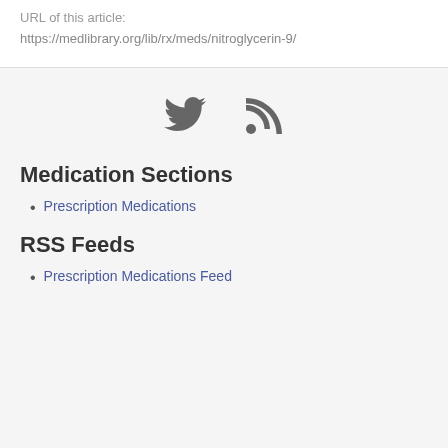URL of this article:
https://medlibrary.org/lib/rx/meds/nitroglycerin-9/
[Figure (illustration): Twitter bird icon and RSS feed icon, both in dark gray]
Medication Sections
Prescription Medications
RSS Feeds
Prescription Medications Feed